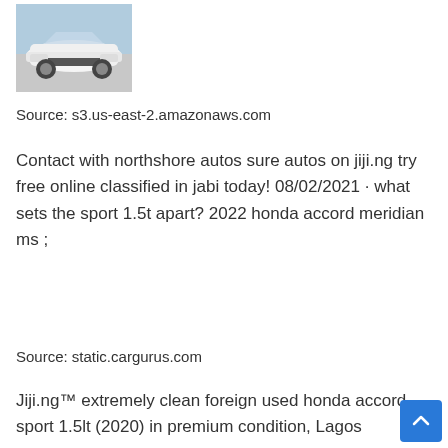[Figure (photo): A white Honda Accord sport sedan photographed from the front-left angle in what appears to be a dealership or parking area.]
Source: s3.us-east-2.amazonaws.com
Contact with northshore autos sure autos on jiji.ng try free online classified in jabi today! 08/02/2021 · what sets the sport 1.5t apart? 2022 honda accord meridian ms ;
Source: static.cargurus.com
Jiji.ng™ extremely clean foreign used honda accord sport 1.5lt (2020) in premium condition, Lagos